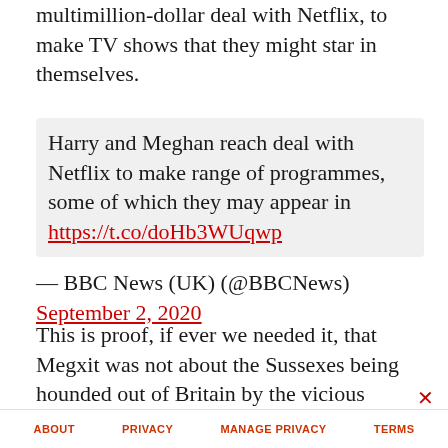multimillion-dollar deal with Netflix, to make TV shows that they might star in themselves.
Harry and Meghan reach deal with Netflix to make range of programmes, some of which they may appear in https://t.co/doHb3WUqwp
— BBC News (UK) (@BBCNews) September 2, 2020
This is proof, if ever we needed it, that Megxit was not about the Sussexes being hounded out of Britain by the vicious tabloids, but rather was about them wanting to ditch the duties of royal life so that they could become second-rate Clooneys – half
ABOUT   PRIVACY   MANAGE PRIVACY   TERMS